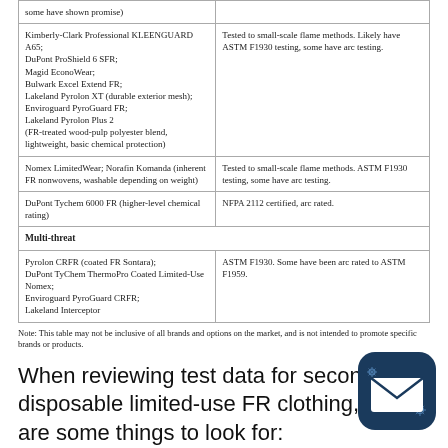| Product | Testing |
| --- | --- |
| some have shown promise) |  |
| Kimberly-Clark Professional KLEENGUARD A65;
DuPont ProShield 6 SFR;
Magid EconoWear;
Bulwark Excel Extend FR;
Lakeland Pyrolon XT (durable exterior mesh);
Enviroguard PyroGuard FR;
Lakeland Pyrolon Plus 2
(FR-treated wood-pulp polyester blend, lightweight, basic chemical protection) | Tested to small-scale flame methods. Likely have ASTM F1930 testing, some have arc testing. |
| Nomex LimitedWear; Norafin Komanda (inherent FR nonwovens, washable depending on weight) | Tested to small-scale flame methods. ASTM F1930 testing, some have arc testing. |
| DuPont Tychem 6000 FR (higher-level chemical rating) | NFPA 2112 certified, arc rated. |
| Multi-threat |  |
| Pyrolon CRFR (coated FR Sontara);
DuPont TyChem ThermoPro Coated Limited-Use Nomex;
Enviroguard PyroGuard CRFR;
Lakeland Interceptor | ASTM F1930. Some have been arc rated to ASTM F1959. |
Note: This table may not be inclusive of all brands and options on the market, and is not intended to promote specific brands or products.
When reviewing test data for secondary disposable limited-use FR clothing, here are some things to look for: